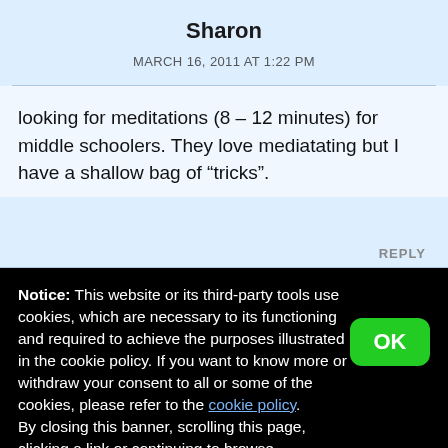Sharon
MARCH 16, 2011 AT 1:22 PM
looking for meditations (8 – 12 minutes) for middle schoolers. They love mediatating but I have a shallow bag of “tricks”.
REPLY
Notice: This website or its third-party tools use cookies, which are necessary to its functioning and required to achieve the purposes illustrated in the cookie policy. If you want to know more or withdraw your consent to all or some of the cookies, please refer to the cookie policy.
By closing this banner, scrolling this page, clicking a link or continuing to browse otherwise, you agree to the use of cookies.